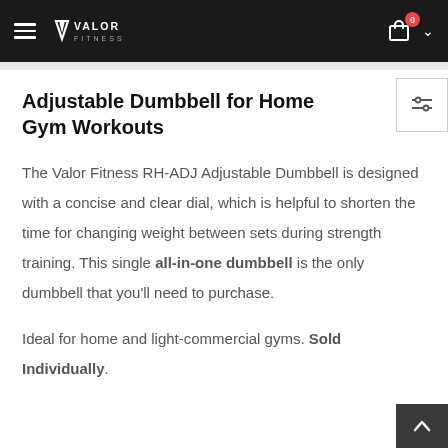Valor Fitness — navigation bar with hamburger menu, logo, cart icon (0), and dropdown chevron
Adjustable Dumbbell for Home Gym Workouts
The Valor Fitness RH-ADJ Adjustable Dumbbell is designed with a concise and clear dial, which is helpful to shorten the time for changing weight between sets during strength training. This single all-in-one dumbbell is the only dumbbell that you'll need to purchase.
Ideal for home and light-commercial gyms. Sold Individually.